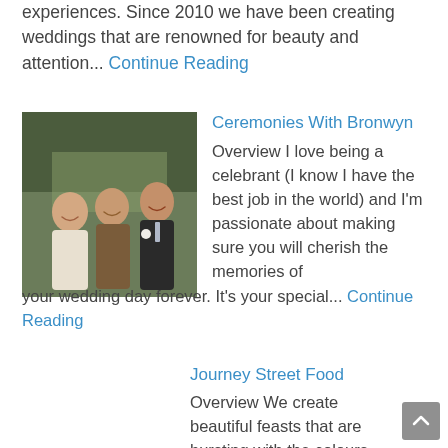experiences. Since 2010 we have been creating weddings that are renowned for beauty and attention... Continue Reading
[Figure (photo): Three people smiling outdoors — a bride in a white dress, a woman in a patterned dress, and a man in a suit with a boutonniere]
Ceremonies With Bronwyn
Overview I love being a celebrant (I know I have the best job in the world) and I'm passionate about making sure you will cherish the memories of your wedding day forever. It's your special... Continue Reading
Journey Street Food
Overview We create beautiful feasts that are bursting with the colours and flavours of the